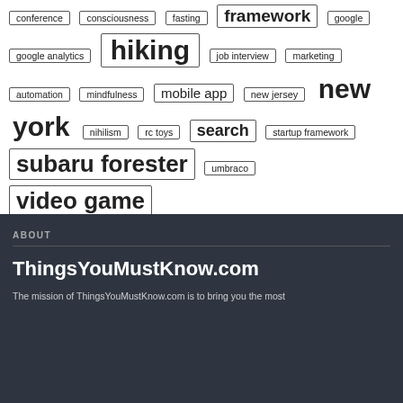conference, consciousness, fasting, framework, google, google analytics, hiking, job interview, marketing, automation, mindfulness, mobile app, new jersey, new york, nihilism, rc toys, search, startup framework, subaru forester, umbraco, video game
ABOUT
ThingsYouMustKnow.com
The mission of ThingsYouMustKnow.com is to bring you the most